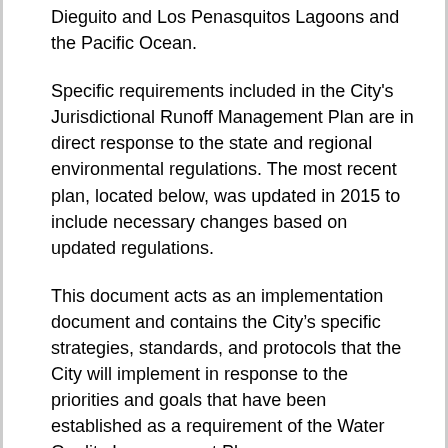Dieguito and Los Penasquitos Lagoons and the Pacific Ocean.
Specific requirements included in the City's Jurisdictional Runoff Management Plan are in direct response to the state and regional environmental regulations. The most recent plan, located below, was updated in 2015 to include necessary changes based on updated regulations.
This document acts as an implementation document and contains the City’s specific strategies, standards, and protocols that the City will implement in response to the priorities and goals that have been established as a requirement of the Water Quality Improvement Plans.
Each year, the City of Del Mar prepares and submits an annual report to the Regional Water Quality Control Board that describes program implementation and efforts to preserve and improve water quality conditions. These annual reports, which include minor updates to the Jurisdictional Runoff Management Plan document, are available below.